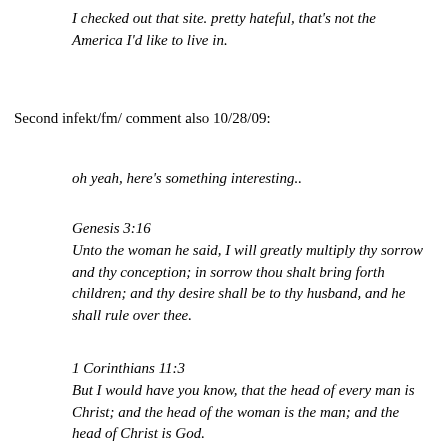I checked out that site. pretty hateful, that's not the America I'd like to live in.
Second infekt/fm/ comment also 10/28/09:
oh yeah, here's something interesting..
Genesis 3:16
Unto the woman he said, I will greatly multiply thy sorrow and thy conception; in sorrow thou shalt bring forth children; and thy desire shall be to thy husband, and he shall rule over thee.
1 Corinthians 11:3
But I would have you know, that the head of every man is Christ; and the head of the woman is the man; and the head of Christ is God.